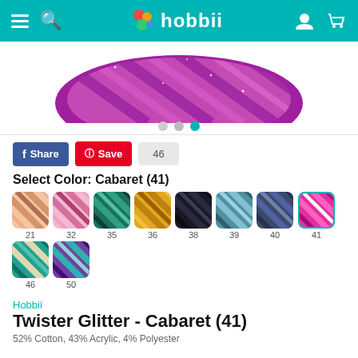hobbii
[Figure (photo): Purple/magenta yarn ball (Twister Glitter) displayed from above on white background, with three navigation dots below]
Share  Save  46
Select Color: Cabaret (41)
[Figure (infographic): Color swatches grid: 21, 32, 35, 36, 38, 39, 40, 41 (selected, teal border), 46, 50 — each a diagonal stripe pattern in different colors]
Hobbii
Twister Glitter - Cabaret (41)
52% Cotton, 43% Acrylic, 4% Polyester